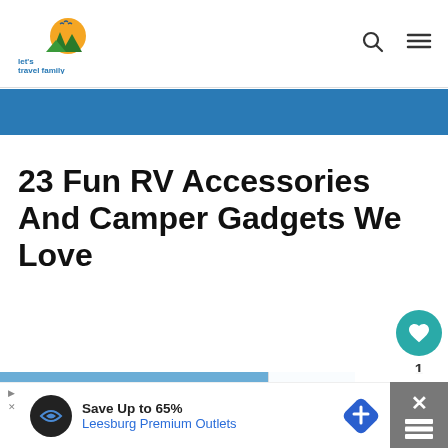[Figure (logo): Let's Travel Family logo - circular sun/mountains illustration with teal and yellow colors, text 'let's travel family' in teal below]
23 Fun RV Accessories And Camper Gadgets We Love
[Figure (photo): RV/camper vehicle parked outdoors with awning extended, trees in background, blue sky]
[Figure (photo): What's Next thumbnail - 35 RV Gifts – The Best Gif...]
WHAT'S NEXT → 35 RV Gifts – The Best Gif...
[Figure (infographic): Advertisement banner: Save Up to 65% Leesburg Premium Outlets]